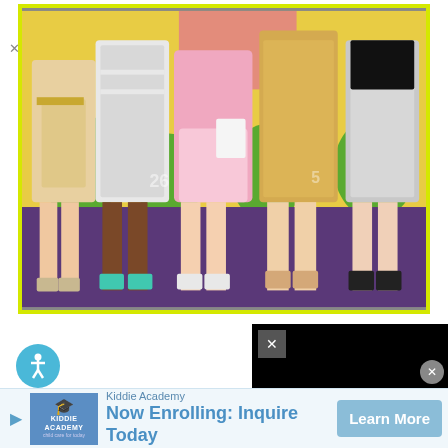[Figure (photo): Photo of several young women standing together in party/formal dresses on a purple carpet in front of a yellow and green event backdrop. The women are wearing dresses in various colors including beige, white/silver, pink, gold, and silver. They are wearing various high heels. The image is cropped to show mostly from the waist down.]
[Figure (screenshot): Partially visible dark/black overlay panel with a close (X) button, appearing to be a popup or video overlay in the top right area of the lower portion of the page.]
Kiddie Academy
Now Enrolling: Inquire Today
Learn More